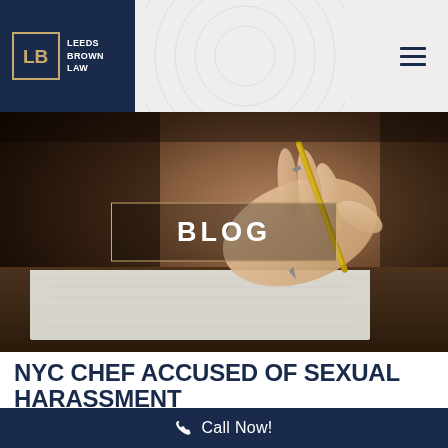[Figure (logo): Leeds Brown Law logo — dark navy square with LB monogram in gold border, white text reading LEEDS BROWN LAW]
[Figure (photo): Hero image of a hand holding a gold pen writing in a notebook on a dark wooden desk, with BLOG text overlay in a gold-bordered rectangle]
NYC CHEF ACCUSED OF SEXUAL HARASSMENT
Call Now!